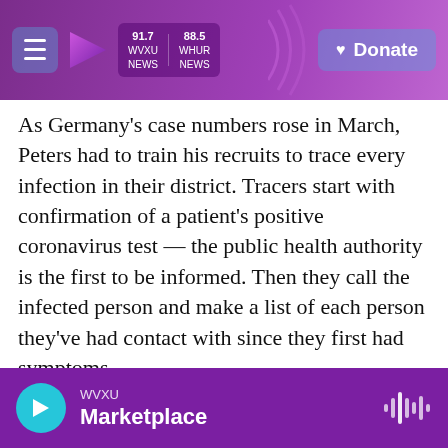WVXU 91.7 NEWS | WHUR 88.5 NEWS | Donate
As Germany's case numbers rose in March, Peters had to train his recruits to trace every infection in their district. Tracers start with confirmation of a patient's positive coronavirus test — the public health authority is the first to be informed. Then they call the infected person and make a list of each person they've had contact with since they first had symptoms.
"Sometimes it's a short list, like only close family, and sometimes it's a really long list," says Dr. Claudia Krummacher, a pediatrician who manages a team of tracers at the call center in Pankow.
WVXU | Marketplace